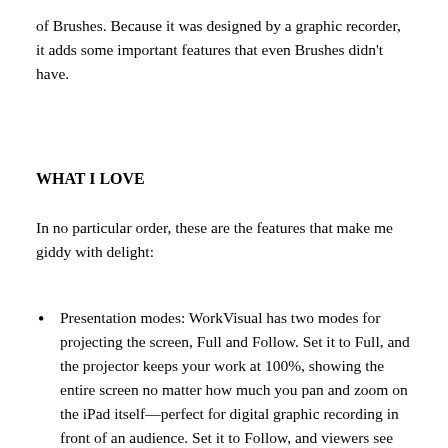of Brushes. Because it was designed by a graphic recorder, it adds some important features that even Brushes didn't have.
WHAT I LOVE
In no particular order, these are the features that make me giddy with delight:
Presentation modes: WorkVisual has two modes for projecting the screen, Full and Follow. Set it to Full, and the projector keeps your work at 100%, showing the entire screen no matter how much you pan and zoom on the iPad itself—perfect for digital graphic recording in front of an audience. Set it to Follow, and viewers see what you see—perfect for teaching